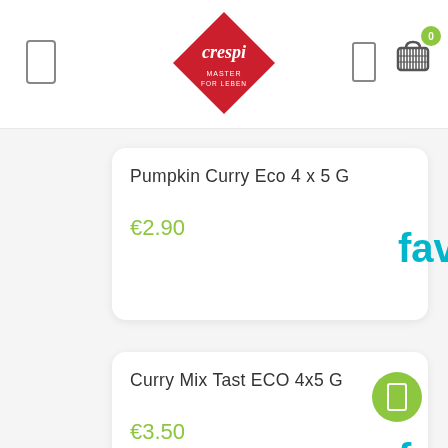[Figure (logo): Crespi brand logo — red diamond shape with white text 'crespi' in center]
Pumpkin Curry Eco 4 x 5 G
€2.90
fav
Curry Mix Tast ECO 4x5 G
€3.50
fav